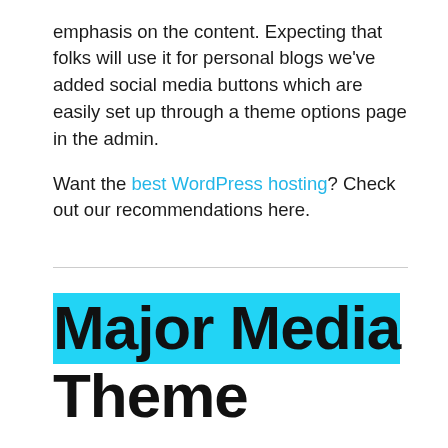emphasis on the content. Expecting that folks will use it for personal blogs we've added social media buttons which are easily set up through a theme options page in the admin.

Want the best WordPress hosting? Check out our recommendations here.
Major Media Theme